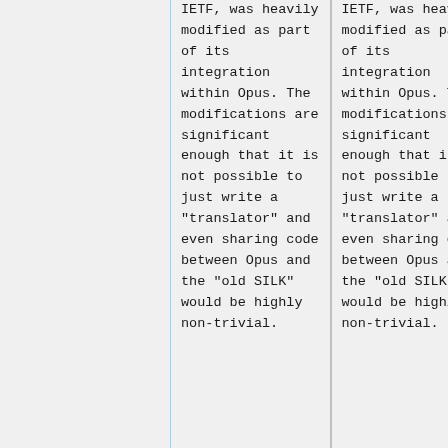IETF, was heavily modified as part of its integration within Opus. The modifications are significant enough that it is not possible to just write a "translator" and even sharing code between Opus and the "old SILK" would be highly non-trivial.
IETF, was heavily modified as part of its integration within Opus. The modifications are significant enough that it is not possible to just write a "translator" and even sharing code between Opus and the "old SILK" would be highly non-trivial.